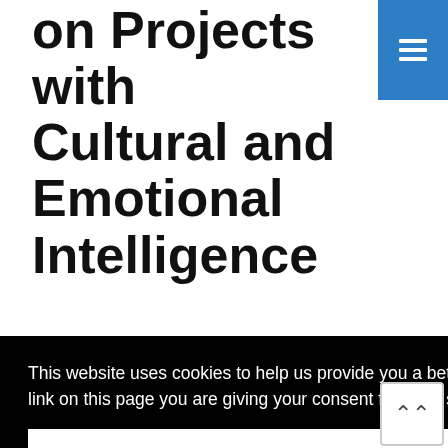on Projects with Cultural and Emotional Intelligence (edX)
Self-Paced
This website uses cookies to help us provide you a better experience. By clicking any link on this page you are giving your consent for us to set cookies. Learn more
Got it!